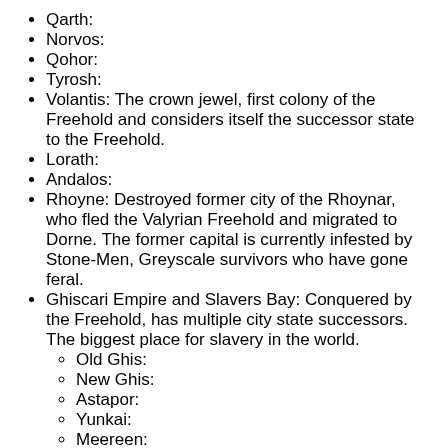Qarth:
Norvos:
Qohor:
Tyrosh:
Volantis: The crown jewel, first colony of the Freehold and considers itself the successor state to the Freehold.
Lorath:
Andalos:
Rhoyne: Destroyed former city of the Rhoynar, who fled the Valyrian Freehold and migrated to Dorne. The former capital is currently infested by Stone-Men, Greyscale survivors who have gone feral.
Ghiscari Empire and Slavers Bay: Conquered by the Freehold, has multiple city state successors. The biggest place for slavery in the world.
Old Ghis:
New Ghis:
Astapor:
Yunkai:
Meereen: